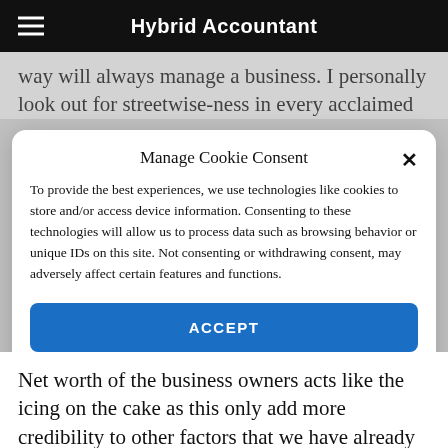Hybrid Accountant
way will always manage a business. I personally look out for streetwise-ness in every acclaimed
Manage Cookie Consent
To provide the best experiences, we use technologies like cookies to store and/or access device information. Consenting to these technologies will allow us to process data such as browsing behavior or unique IDs on this site. Not consenting or withdrawing consent, may adversely affect certain features and functions.
ACCEPT
Cookie Policy   YOUR PRIVACY
Net worth of the business owners acts like the icing on the cake as this only add more credibility to other factors that we have already discussed